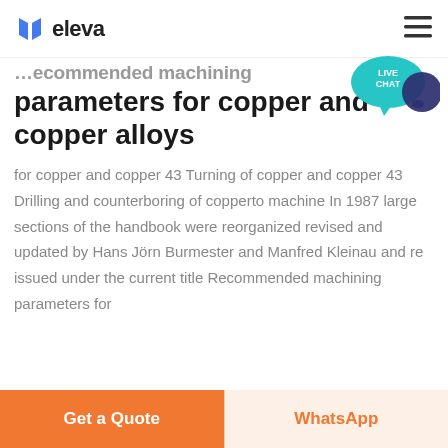eleva
Recommended machining parameters for copper and copper alloys
for copper and copper 43 Turning of copper and copper 43 Drilling and counterboring of copperto machine In 1987 large sections of the handbook were reorganized revised and updated by Hans Jörn Burmester and Manfred Kleinau and re issued under the current title Recommended machining parameters for
Get a Quote | WhatsApp